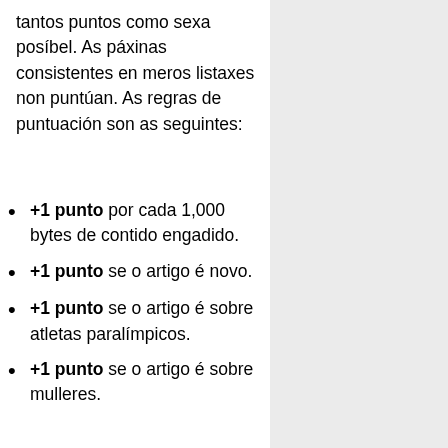tantos puntos como sexa posíbel. As páxinas consistentes en meros listaxes non puntúan. As regras de puntuación son as seguintes:
+1 punto por cada 1,000 bytes de contido engadido.
+1 punto se o artigo é novo.
+1 punto se o artigo é sobre atletas paralímpicos.
+1 punto se o artigo é sobre mulleres.